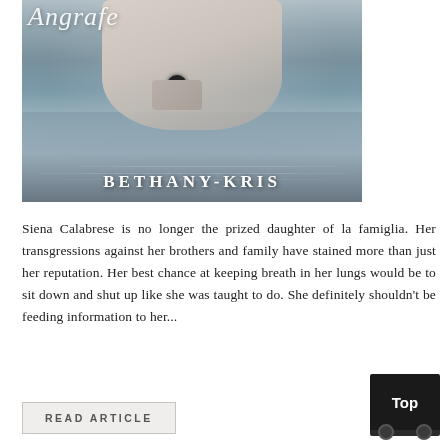[Figure (photo): Book cover showing a person wading in water wearing white, with cursive script title text at top and author name BETHANY-KRIS in bold white letters at bottom]
Siena Calabrese is no longer the prized daughter of la famiglia. Her transgressions against her brothers and family have stained more than just her reputation. Her best chance at keeping breath in her lungs would be to sit down and shut up like she was taught to do. She definitely shouldn't be feeding information to her...
READ ARTICLE